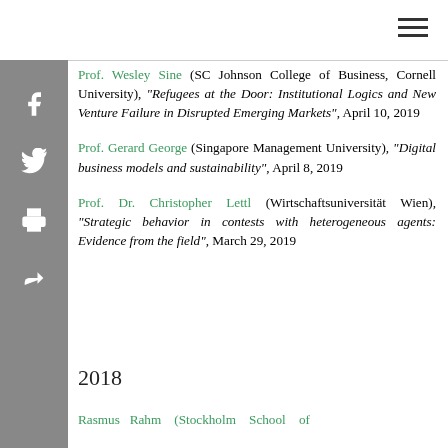Prof. Wesley Sine (SC Johnson College of Business, Cornell University), "Refugees at the Door: Institutional Logics and New Venture Failure in Disrupted Emerging Markets", April 10, 2019
Prof. Gerard George (Singapore Management University), "Digital business models and sustainability", April 8, 2019
Prof. Dr. Christopher Lettl (Wirtschaftsuniversität Wien), "Strategic behavior in contests with heterogeneous agents: Evidence from the field", March 29, 2019
2018
Rasmus Rahm (Stockholm School of